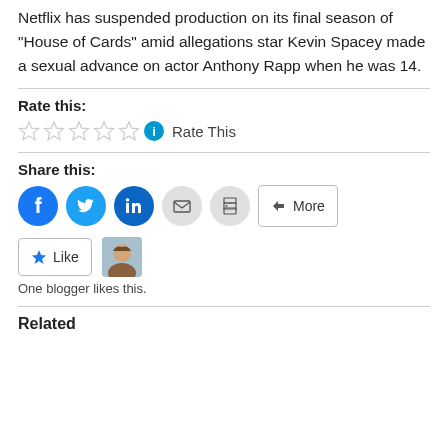Netflix has suspended production on its final season of “House of Cards” amid allegations star Kevin Spacey made a sexual advance on actor Anthony Rapp when he was 14.
Rate this:
Rate This
Share this:
More
Like
One blogger likes this.
Related